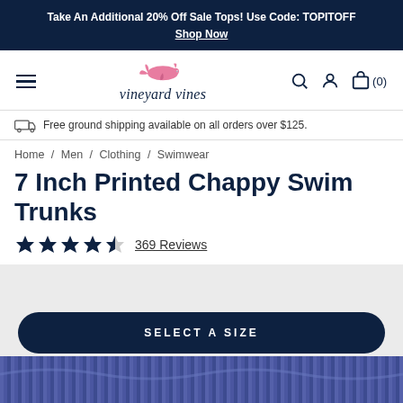Take An Additional 20% Off Sale Tops! Use Code: TOPITOFF
Shop Now
[Figure (logo): Vineyard Vines logo with pink whale and italic brand name text]
Free ground shipping available on all orders over $125.
Home / Men / Clothing / Swimwear
7 Inch Printed Chappy Swim Trunks
★★★★★ 369 Reviews
[Figure (photo): Product image area showing swim trunks with SELECT A SIZE button overlay]